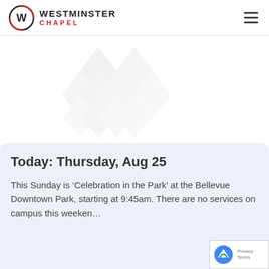WESTMINSTER CHAPEL
[Figure (logo): Westminster Chapel watermark logo — diamond cross shape in light gray in background center]
Today: Thursday, Aug 25
This Sunday is ‘Celebration in the Park’ at the Bellevue Downtown Park, starting at 9:45am. There are no services on campus this weekend.